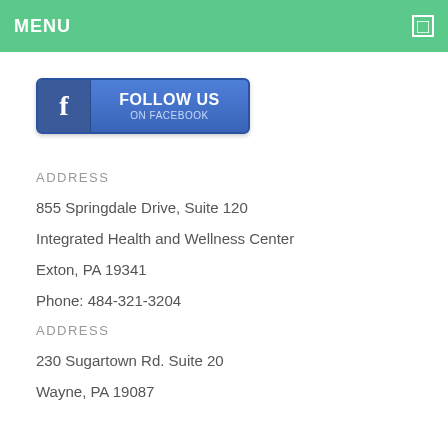MENU
[Figure (logo): Facebook Follow Us on Facebook button]
ADDRESS
855 Springdale Drive, Suite 120
Integrated Health and Wellness Center
Exton, PA 19341
Phone: 484-321-3204
ADDRESS
230 Sugartown Rd. Suite 20
Wayne, PA 19087